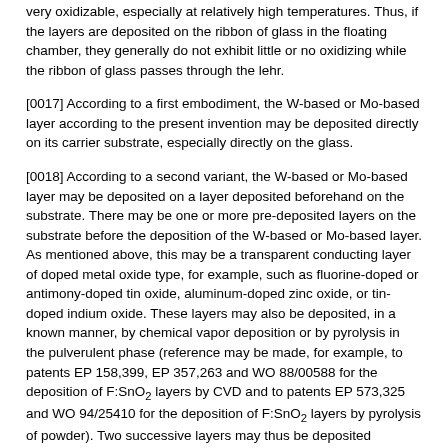very oxidizable, especially at relatively high temperatures. Thus, if the layers are deposited on the ribbon of glass in the floating chamber, they generally do not exhibit little or no oxidizing while the ribbon of glass passes through the lehr.
[0017] According to a first embodiment, the W-based or Mo-based layer according to the present invention may be deposited directly on its carrier substrate, especially directly on the glass.
[0018] According to a second variant, the W-based or Mo-based layer may be deposited on a layer deposited beforehand on the substrate. There may be one or more pre-deposited layers on the substrate before the deposition of the W-based or Mo-based layer. As mentioned above, this may be a transparent conducting layer of doped metal oxide type, for example, such as fluorine-doped or antimony-doped tin oxide, aluminum-doped zinc oxide, or tin-doped indium oxide. These layers may also be deposited, in a known manner, by chemical vapor deposition or by pyrolysis in the pulverulent phase (reference may be made, for example, to patents EP 158,399, EP 357,263 and WO 88/00588 for the deposition of F:SnO₂ layers by CVD and to patents EP 573,325 and WO 94/25410 for the deposition of F:SnO₂ layers by pyrolysis of powder). Two successive layers may thus be deposited pyrolytically on the float line when the substrate is a glass substrate. Of course, it is possible to interpose or to add another type of